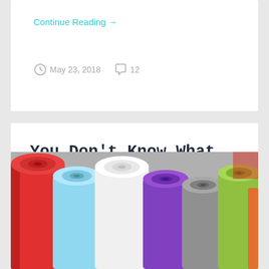Continue Reading →
May 23, 2018    12
You Don't Know What You Want. The Chinese Seamstress Know What You Want.
[Figure (photo): Rolls of colorful fabric in various colors including red, light blue, white, purple, gray, green, and orange stacked together]